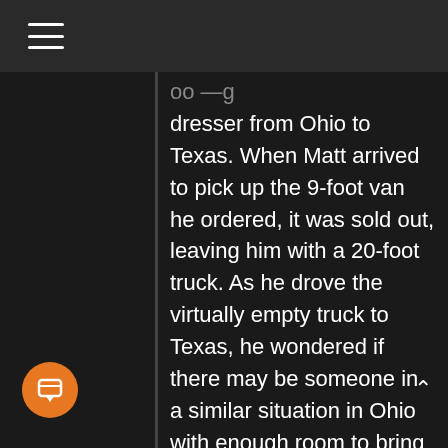☰
dresser from Ohio to Texas. When Matt arrived to pick up the 9-foot van he ordered, it was sold out, leaving him with a 20-foot truck. As he drove the virtually empty truck to Texas, he wondered if there may be someone in a similar situation in Ohio with enough room to bring home his mother's dresser. Matt continued to tinker with the idea over the coming year, and when